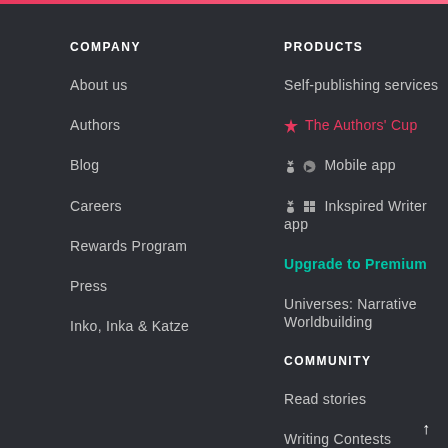COMPANY
About us
Authors
Blog
Careers
Rewards Program
Press
Inko, Inka & Katze
PRODUCTS
Self-publishing services
🏆 The Authors' Cup
🍎 🤖 Mobile app
🍎 ⬛ Inkspired Writer app
Upgrade to Premium
Universes: Narrative Worldbuilding
COMMUNITY
Read stories
Writing Contests
Community Groups
Become an ambassador